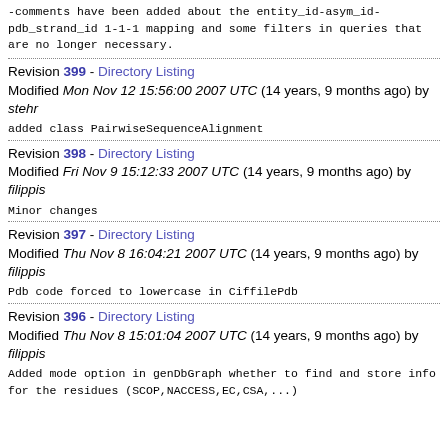-comments have been added about the entity_id-asym_id-pdb_strand_id 1-1-1 mapping and some filters in queries that are no longer necessary.
Revision 399 - Directory Listing
Modified Mon Nov 12 15:56:00 2007 UTC (14 years, 9 months ago) by stehr
added class PairwiseSequenceAlignment
Revision 398 - Directory Listing
Modified Fri Nov 9 15:12:33 2007 UTC (14 years, 9 months ago) by filippis
Minor changes
Revision 397 - Directory Listing
Modified Thu Nov 8 16:04:21 2007 UTC (14 years, 9 months ago) by filippis
Pdb code forced to lowercase in CiffilePdb
Revision 396 - Directory Listing
Modified Thu Nov 8 15:01:04 2007 UTC (14 years, 9 months ago) by filippis
Added mode option in genDbGraph whether to find and store info for the residues (SCOP,NACCESS,EC,CSA,...)